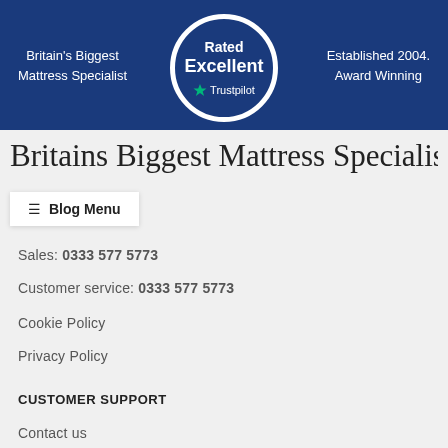Britain's Biggest Mattress Specialist | Rated Excellent Trustpilot | Established 2004. Award Winning
Britains Biggest Mattress Specialist
≡ Blog Menu
Sales: 0333 577 5773
Customer service: 0333 577 5773
Cookie Policy
Privacy Policy
CUSTOMER SUPPORT
Contact us